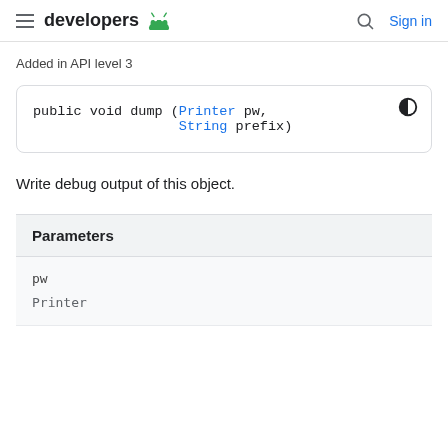developers (android logo) | Search | Sign in
Added in API level 3
Write debug output of this object.
| Parameters |
| --- |
| pw | Printer |